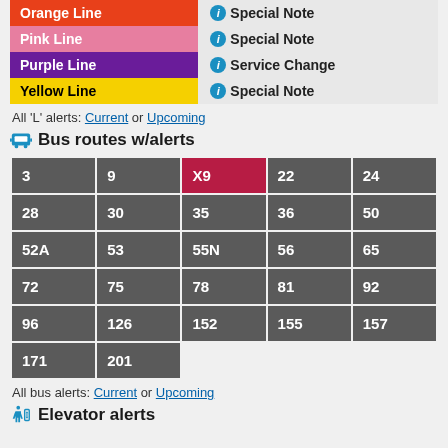| Line | Alert Type |
| --- | --- |
| Orange Line | Special Note |
| Pink Line | Special Note |
| Purple Line | Service Change |
| Yellow Line | Special Note |
All 'L' alerts: Current or Upcoming
Bus routes w/alerts
| 3 | 9 | X9 | 22 | 24 |
| 28 | 30 | 35 | 36 | 50 |
| 52A | 53 | 55N | 56 | 65 |
| 72 | 75 | 78 | 81 | 92 |
| 96 | 126 | 152 | 155 | 157 |
| 171 | 201 |  |  |  |
All bus alerts: Current or Upcoming
Elevator alerts